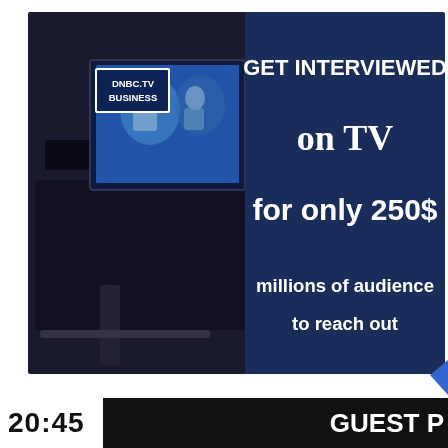[Figure (screenshot): Advertisement image for DNBC.TV Business. Left side shows a TV camera with a broadcast monitor displaying an interview scene. Right side has dark navy blue background with white bold text: 'GET INTERVIEWED on TV for only 250$ millions of audience to reach out'. Top left corner has a white box with navy text 'DNBC.TV BUSINESS'.]
20:45   GUEST P